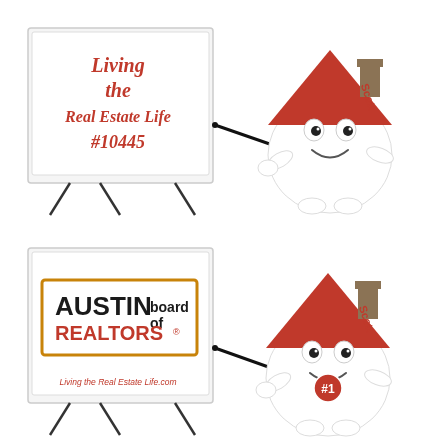[Figure (illustration): 3D cartoon house character with red roof, smiling face, named 'Scott', pointing with a stick at a white presentation board/easel displaying text: 'Living the Real Estate Life #10445' in red italic lettering.]
[Figure (illustration): Same 3D cartoon house character 'Scott' with red roof pointing at a presentation board showing the Austin Board of REALTORS logo, with '#1' badge on body and 'Living the Real Estate Life.com' text at bottom of board.]